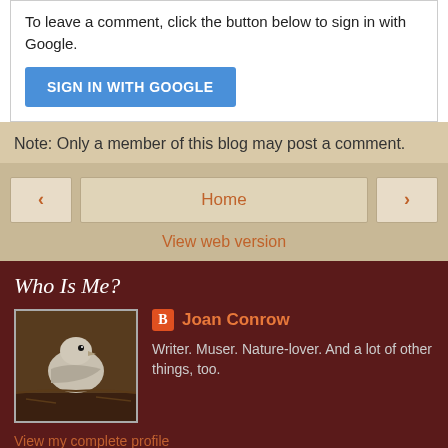To leave a comment, click the button below to sign in with Google.
SIGN IN WITH GOOGLE
Note: Only a member of this blog may post a comment.
Home
View web version
Who Is Me?
[Figure (photo): Photo of a bird (likely a petrel or shearwater) in a nest or burrow, brown/grey tones]
Joan Conrow
Writer. Muser. Nature-lover. And a lot of other things, too.
View my complete profile
Powered by Blogger.